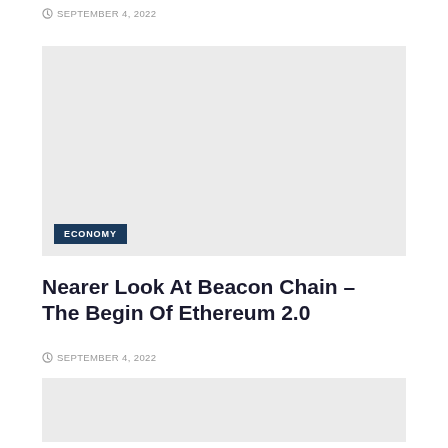SEPTEMBER 4, 2022
[Figure (photo): Large image placeholder with ECONOMY category tag at bottom left]
Nearer Look At Beacon Chain – The Begin Of Ethereum 2.0
SEPTEMBER 4, 2022
[Figure (photo): Second image placeholder at bottom of page]